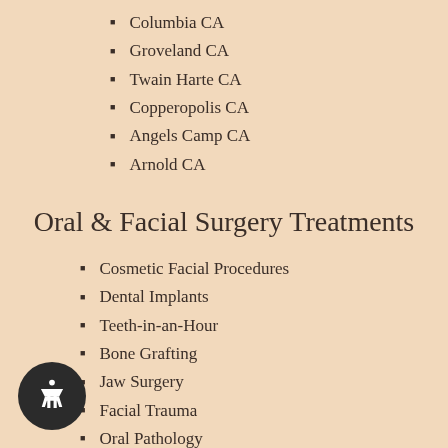Columbia CA
Groveland CA
Twain Harte CA
Copperopolis CA
Angels Camp CA
Arnold CA
Oral & Facial Surgery Treatments
Cosmetic Facial Procedures
Dental Implants
Teeth-in-an-Hour
Bone Grafting
Jaw Surgery
Facial Trauma
Oral Pathology
Cost of Dental Implants
TMJ Disorders
Sleep Apnea
Cleft Lip & Palate
Impacted Canines